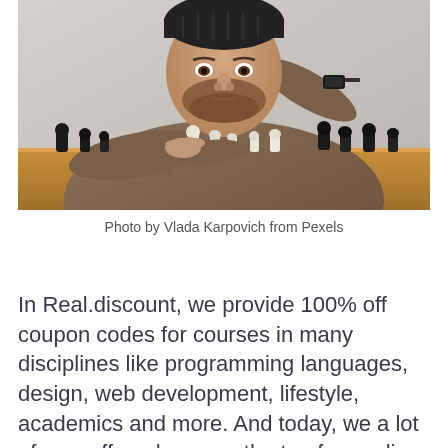[Figure (photo): A bearded man wearing a black beanie hat and tweed jacket, leaning over a chess board with chess pieces, resting his head on his hand and looking at the camera]
Photo by Vlada Karpovich from Pexels
In Real.discount, we provide 100% off coupon codes for courses in many disciplines like programming languages, design, web development, lifestyle, academics and more. And today, we a lot of new offers, here are the top free online courses we added today: